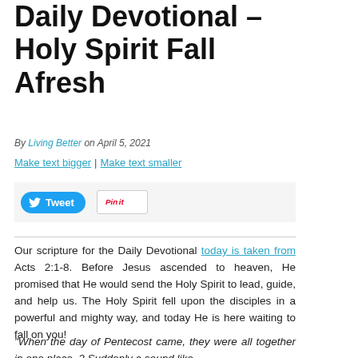Daily Devotional – Holy Spirit Fall Afresh
By Living Better on April 5, 2021
Make text bigger | Make text smaller
Tweet  Pin it
Our scripture for the Daily Devotional today is taken from Acts 2:1-8. Before Jesus ascended to heaven, He promised that He would send the Holy Spirit to lead, guide, and help us. The Holy Spirit fell upon the disciples in a powerful and mighty way, and today He is here waiting to fall on you!
“When the day of Pentecost came, they were all together in one place. 2 Suddenly a sound like